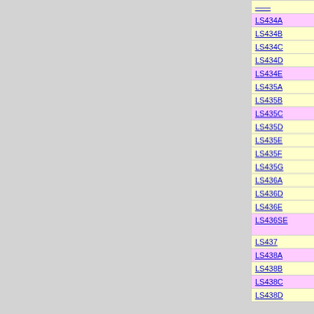| Code | Description |
| --- | --- |
| LS434A | Ferrari California T open 2014 (Rosso California) |
| LS434B | Ferrari California T open 2014 (Blu Ribot) |
| LS434C | Ferrari California T open 2014 (Rosso Corsa) |
| LS434D | Ferrari California T open 2014 (Bianco Italia) |
| LS434E | Ferrari California T open 2014 (Argento Nurburgring) |
| LS435A | Ferrari 458 Speciale A (Giallo Tristrato) |
| LS435B | Ferrari 458 Speciale A (Rosso Corsa) |
| LS435C | Ferrari 458 Speciale A (Rosso Rubino Micalizzato) |
| LS435D | Ferrari 458 Speciale A (Grigio Ingrid) |
| LS435E | Ferrari 458 Speciale A (Bianco Fuji) |
| LS435F | Ferrari 458 Speciale A (Nero Daytona) |
| LS435G | Ferrari 458 Speciale A (Grigio Medio) |
| LS436A | Lamborghini Huracan LP610-4 2014 Closed Rear Bonnet (Aton Yellow) |
| LS436D | Lamborghini Huracan LP610-4 2014 Closed Rear Bonnet (Nethuns Blue) |
| LS436E | Lamborghini Huracan LP610-4 2014 Closed Rear Bonnet (Mantis Green) |
| LS436SE | Lamborghini Huracan LP610-4 2014 Closed Rear Bonnet (Mantis Green/Aldebaran Black) Lim.Edition 25pcs |
| LS437 | Lamborghini Huracan LP610-4 POLIZIA |
| LS438A | Lamborghini 5-95 Zagato (Metallic Orange Matt) |
| LS438B | Lamborghini 5-95 Zagato (Midas Yellow Matt) |
| LS438C | Lamborghini 5-95 Zagato (Nemesis Black Matt) |
| LS438D | Lamborghini 5-95 Zagato (Mantis Green Matt) |